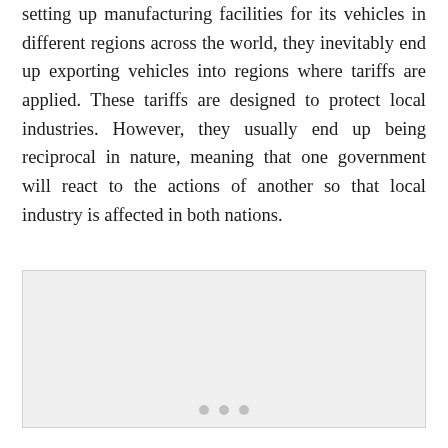setting up manufacturing facilities for its vehicles in different regions across the world, they inevitably end up exporting vehicles into regions where tariffs are applied. These tariffs are designed to protect local industries. However, they usually end up being reciprocal in nature, meaning that one government will react to the actions of another so that local industry is affected in both nations.
[Figure (other): A light gray placeholder image box with carousel indicator dots at the bottom.]